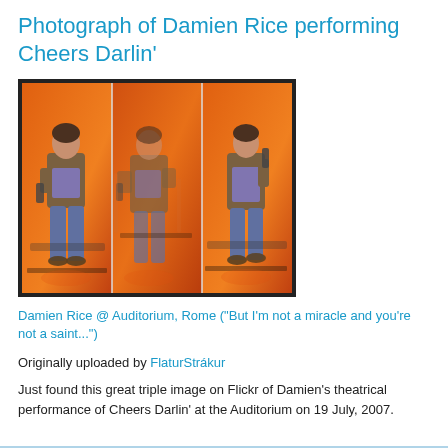Photograph of Damien Rice performing Cheers Darlin'
[Figure (photo): Triple composite photograph of Damien Rice performing on stage at the Auditorium, Rome. Three side-by-side images show him singing/performing against an orange-lit background, wearing a brown jacket and purple scarf with jeans.]
Damien Rice @ Auditorium, Rome ("But I'm not a miracle and you're not a saint...")
Originally uploaded by FlaturStrákur
Just found this great triple image on Flickr of Damien's theatrical performance of Cheers Darlin' at the Auditorium on 19 July, 2007.